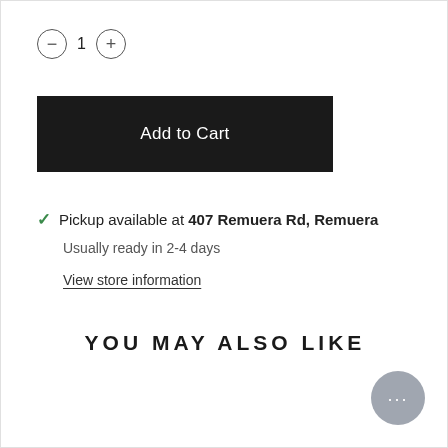- 1 +
Add to Cart
✓ Pickup available at 407 Remuera Rd, Remuera
Usually ready in 2-4 days
View store information
YOU MAY ALSO LIKE
[Figure (other): Chat bubble icon with ellipsis (···)]